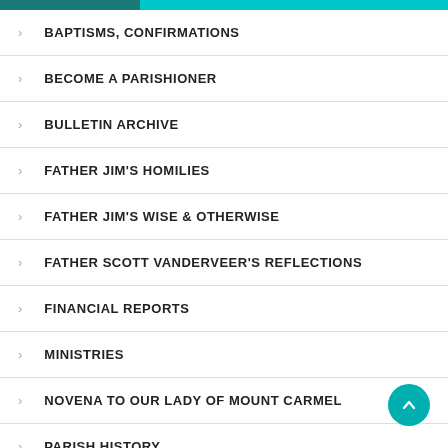> BAPTISMS, CONFIRMATIONS
> BECOME A PARISHIONER
> BULLETIN ARCHIVE
> FATHER JIM'S HOMILIES
> FATHER JIM'S WISE & OTHERWISE
> FATHER SCOTT VANDERVEER'S REFLECTIONS
> FINANCIAL REPORTS
> MINISTRIES
> NOVENA TO OUR LADY OF MOUNT CARMEL
> PARISH HISTORY